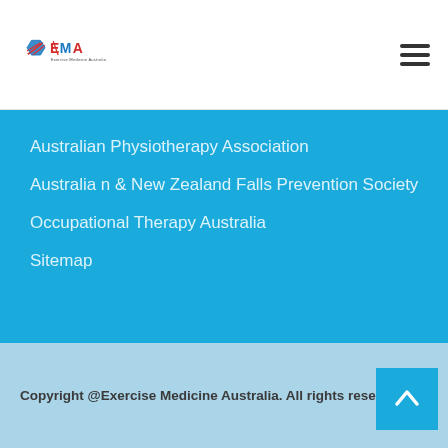[Figure (logo): Exercise Medicine Australia logo with hexagonal graphic and EMA text]
Australian Physiotherapy Association
Australia n & New Zealand Falls Prevention Society
Occupational Therapy Australia
Sitemap
Copyright @Exercise Medicine Australia. All rights reserved.